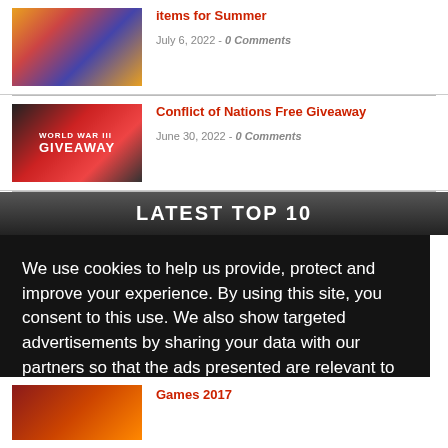[Figure (illustration): Colorful animated game artwork thumbnail]
items for Summer
July 6, 2022 - 0 Comments
[Figure (illustration): World War III Giveaway banner image with red background]
Conflict of Nations Free Giveaway
June 30, 2022 - 0 Comments
LATEST TOP 10
We use cookies to help us provide, protect and improve your experience. By using this site, you consent to this use. We also show targeted advertisements by sharing your data with our partners so that the ads presented are relevant to you.
Privacy Policy
Decline
Allow cookies
[Figure (illustration): Game artwork thumbnail at bottom]
Games 2017